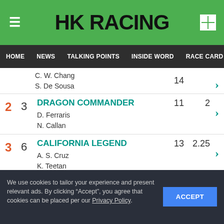HK RACING
HOME | NEWS | TALKING POINTS | INSIDE WORD | RACE CARD | RACE RESU...
C. W. Chang   14
S. De Sousa
2   3   DRAGON COMMANDER
D. Ferraris   11   2
N. Callan
3   6   CALIFORNIA LEGEND
A. S. Cruz   13   2.25
K. Teetan
4   9   THIS ONE'S FOR YOU
K. W. Lui   10   2.25
We use cookies to tailor your experience and present relevant ads. By clicking “Accept”, you agree that cookies can be placed per our Privacy Policy.